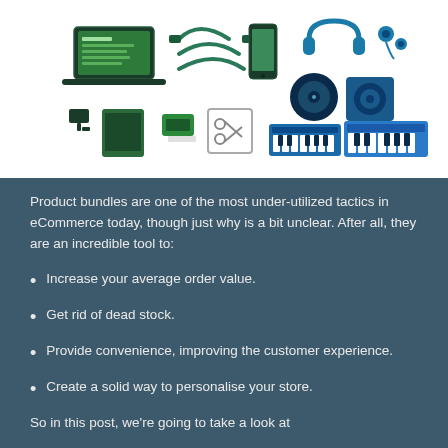[Figure (illustration): Illustrations of tech and music products: laptop with green screen, cables, smartphone, headphones, earbuds, vinyl record, speaker, synthesizer keyboards, tablet, printer, scissors/tools icon]
Product bundles are one of the most under-utilized tactics in eCommerce today, though just why is a bit unclear. After all, they are an incredible tool to:
Increase your average order value.
Get rid of dead stock.
Provide convenience, improving the customer experience.
Create a solid way to personalise your store.
So in this post, we're going to take a look at